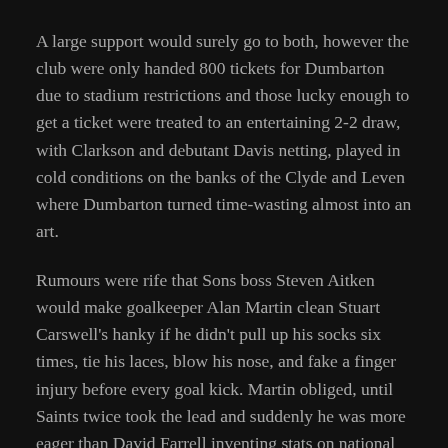A large support would surely go to both, however the club were only handed 800 tickets for Dumbarton due to stadium restrictions and those lucky enough to get a ticket were treated to an entertaining 2-2 draw, with Clarkson and debutant Davis netting, played in cold conditions on the banks of the Clyde and Leven where Dumbarton turned time-wasting almost into an art.
Rumours were rife that Sons boss Steven Aitken would make goalkeeper Alan Martin clean Stuart Carswell's hanky if he didn't pull up his socks six times, tie his laces, blow his nose, and fake a finger injury before every goal kick. Martin obliged, until Saints twice took the lead and suddenly he was more eager than David Farrell inventing stats on national radio.